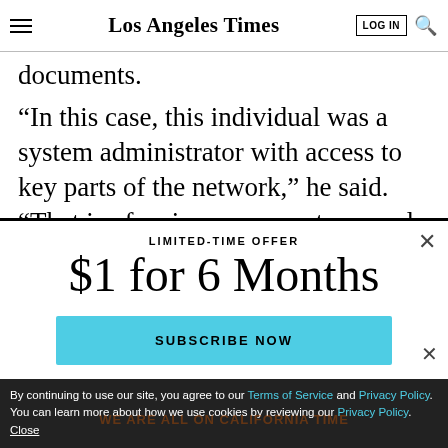Los Angeles Times
documents.
“In this case, this individual was a system administrator with access to key parts of the network,” he said. “That is of serious concern to us and something that we have to fix.”
LIMITED-TIME OFFER
$1 for 6 Months
SUBSCRIBE NOW
By continuing to use our site, you agree to our Terms of Service and Privacy Policy. You can learn more about how we use cookies by reviewing our Privacy Policy. Close